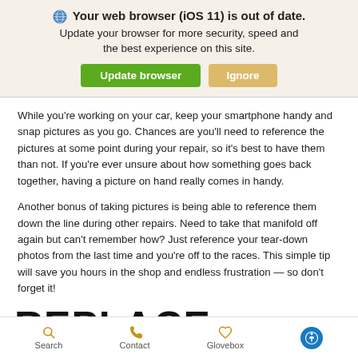🌐 Your web browser (iOS 11) is out of date. Update your browser for more security, speed and the best experience on this site. [Update browser] [Ignore]
While you're working on your car, keep your smartphone handy and snap pictures as you go. Chances are you'll need to reference the pictures at some point during your repair, so it's best to have them than not. If you're ever unsure about how something goes back together, having a picture on hand really comes in handy.
Another bonus of taking pictures is being able to reference them down the line during other repairs. Need to take that manifold off again but can't remember how? Just reference your tear-down photos from the last time and you're off to the races. This simple tip will save you hours in the shop and endless frustration — so don't forget it!
REPLACE THINGS IN
Search   Contact   Glovebox   [accessibility icon]